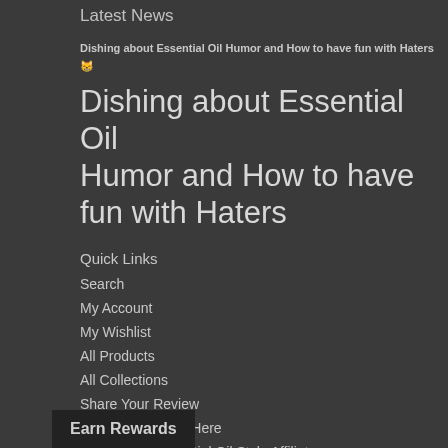Latest News
Dishing about Essential Oil Humor and How to have fun with Haters 😸
Dishing about Essential Oil Humor and How to have fun with Haters
Quick Links
Search
My Account
My Wishlist
All Products
All Collections
Share Your Review
Start Your Return Here
Become an Essential Oil Style Affiliate
Take Quiz to find Your 'Essential Oil Style'
Earn Rewards